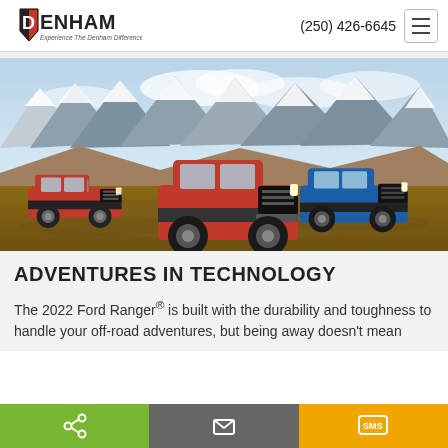Denham — Experience The Denham Difference | (250) 426-6645
[Figure (photo): Three Ford Ranger trucks (two red, one blue) parked on a desert rocky terrain with snow-capped mountains in the background.]
ADVENTURES IN TECHNOLOGY
The 2022 Ford Ranger® is built with the durability and toughness to handle your off-road adventures, but being away doesn't mean
[Figure (infographic): Bottom action bar with three buttons: Share (green), Email (grey), SMS (yellow/amber).]